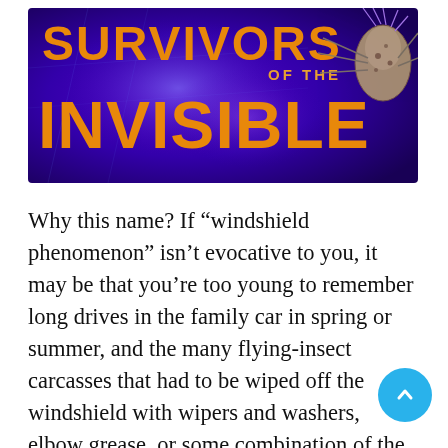[Figure (illustration): Banner image for 'Survivors of the Invisible' with orange bold text on a purple/blue cosmic background, with a close-up insect on the right side.]
Why this name? If “windshield phenomenon” isn’t evocative to you, it may be that you’re too young to remember long drives in the family car in spring or summer, and the many flying-insect carcasses that had to be wiped off the windshield with wipers and washers, elbow grease, or some combination of the three. Maybe that is a dis… memory you can recall, but it’s probably not a recent one. There are simply not enough